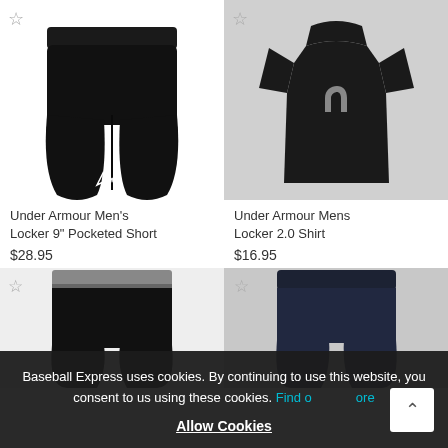[Figure (photo): Under Armour black athletic shorts product photo with UA logo]
Under Armour Men's Locker 9" Pocketed Short
$28.95
[Figure (photo): Under Armour black short-sleeve t-shirt product photo with UA logo]
Under Armour Mens Locker 2.0 Shirt
$16.95
[Figure (photo): Under Armour black athletic shorts with gray waistband, product photo]
[Figure (photo): Under Armour dark navy athletic shorts product photo]
Baseball Express uses cookies. By continuing to use this website, you consent to us using these cookies. Find out more
Allow Cookies